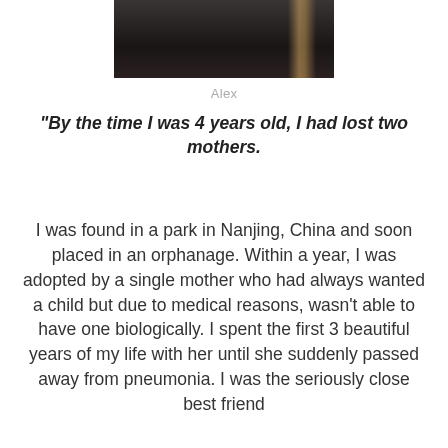[Figure (photo): Portrait photo of a person named Alex, cropped at top showing upper body in dark clothing]
Alex
"By the time I was 4 years old, I had lost two mothers.
I was found in a park in Nanjing, China and soon placed in an orphanage. Within a year, I was adopted by a single mother who had always wanted a child but due to medical reasons, wasn’t able to have one biologically. I spent the first 3 beautiful years of my life with her until she suddenly passed away from pneumonia. I was the seriously close best friend